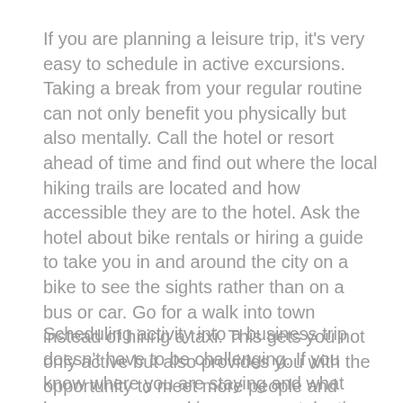If you are planning a leisure trip, it's very easy to schedule in active excursions. Taking a break from your regular routine can not only benefit you physically but also mentally. Call the hotel or resort ahead of time and find out where the local hiking trails are located and how accessible they are to the hotel. Ask the hotel about bike rentals or hiring a guide to take you in and around the city on a bike to see the sights rather than on a bus or car. Go for a walk into town instead of hiring a taxi. This gets you not only active but also provides you with the opportunity to meet more people and discover new places.
Scheduling activity into a business trip doesn't have to be challenging. If you know where you are staying and what hours you are working, you can take time